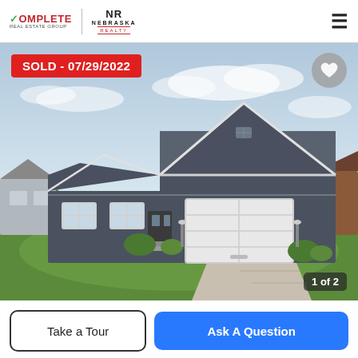[Figure (logo): Complete Real Estate Group | Nebraska Realty logo on white header bar with hamburger menu icon]
[Figure (photo): Exterior photo of a single-story ranch-style home with dark gray siding, white trim, two-car garage, concrete driveway, and green lawn. Overlay shows SOLD - 07/29/2022 badge in red, a heart/favorite button top right, and '1 of 2' photo counter bottom right.]
SOLD - 07/29/2022
1 of 2
Take a Tour
Ask A Question